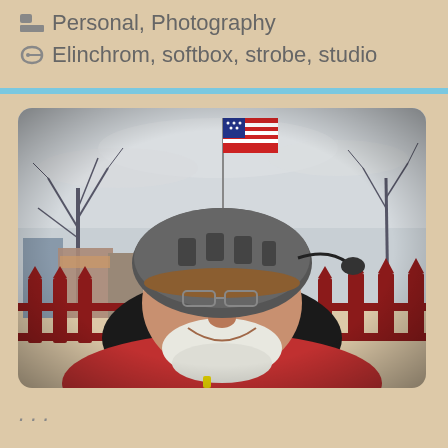Personal, Photography
Elinchrom, softbox, strobe, studio
[Figure (photo): Outdoor selfie of a bearded man wearing a bicycle helmet with a mirror attachment and red jacket, standing in front of a red picket fence with an American flag on a pole in the background, bare winter trees, and a grey overcast sky. Buildings visible on the left.]
...